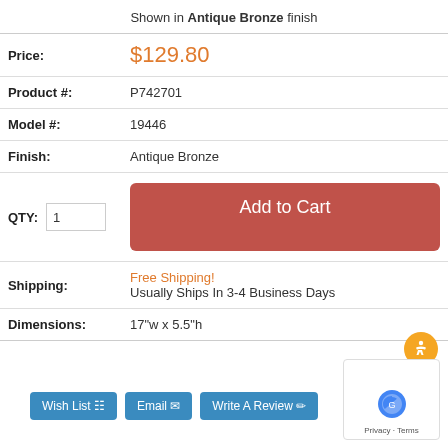Shown in Antique Bronze finish
| Price: | $129.80 |
| Product #: | P742701 |
| Model #: | 19446 |
| Finish: | Antique Bronze |
| QTY: | 1 | Add to Cart |
| Shipping: | Free Shipping! Usually Ships In 3-4 Business Days |
| Dimensions: | 17"w x 5.5"h |
Wish List
Email
Write A Review